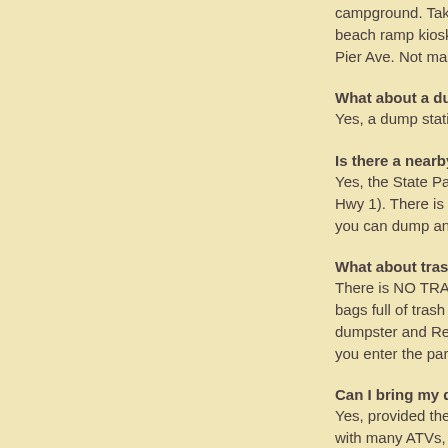campground. Take Air... beach ramp kiosk. The... Pier Ave. Not many pe...
What about a dump s...
Yes, a dump station is...
Is there a nearby plac...
Yes, the State Parks O... Hwy 1). There is a sew... you can dump and loa...
What about trash ser...
There is NO TRASH s... bags full of trash on th... dumpster and Recycle... you enter the park.
Can I bring my dog?
Yes, provided they are... with many ATVs, moto... hazard to themsleves... wildlife and shore birds...